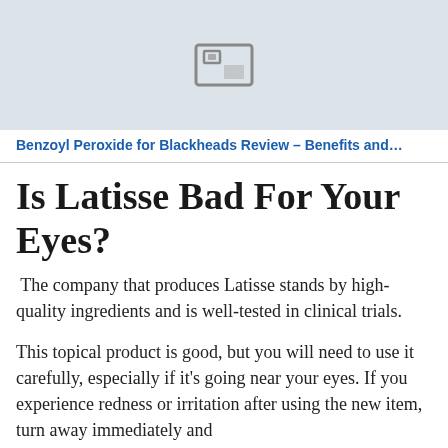[Figure (photo): Placeholder image with a generic image icon on a light blue-grey background]
Benzoyl Peroxide for Blackheads Review – Benefits and…
Is Latisse Bad For Your Eyes?
The company that produces Latisse stands by high-quality ingredients and is well-tested in clinical trials.
This topical product is good, but you will need to use it carefully, especially if it's going near your eyes. If you experience redness or irritation after using the new item, turn away immediately and